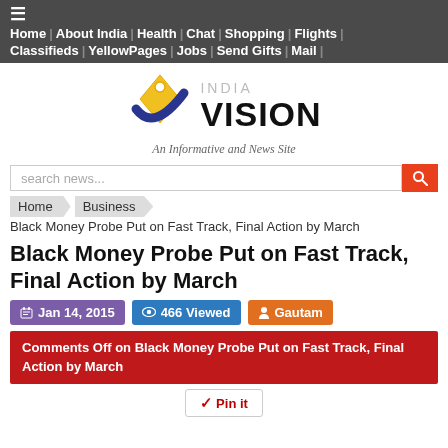Home | About India | Health | Chat | Shopping | Flights | Classifieds | YellowPages | Jobs | Send Gifts | Mail
[Figure (logo): India Vision logo with gold pen-nib icon and blue checkmark, text 'INDIA VISION An Informative and News Site']
search news...
Home > Business > Black Money Probe Put on Fast Track, Final Action by March
Black Money Probe Put on Fast Track, Final Action by March
Jan 14, 2015  466 Viewed  Gautam
Comments Off on Black Money Probe Put on Fast Track, Final Action by March